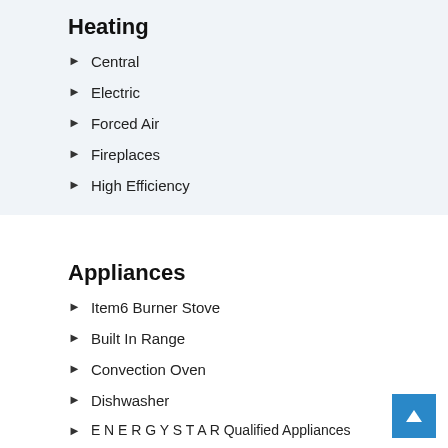Heating
Central
Electric
Forced Air
Fireplaces
High Efficiency
Appliances
Item6 Burner Stove
Built In Range
Convection Oven
Dishwasher
ENERGY STAR Qualified Appliances
ENERGY STAR Qualified Water
Heater
Electric Oven